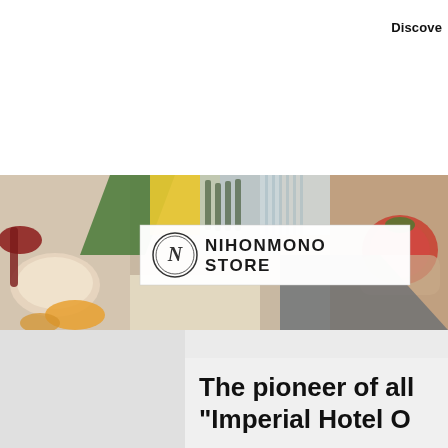Discove
[Figure (illustration): NIHONMONO STORE banner with collage of Japanese food and craft product images and logo]
The pioneer of all
"Imperial Hotel O